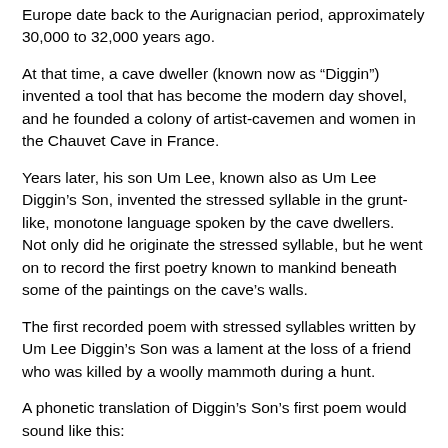Europe date back to the Aurignacian period, approximately 30,000 to 32,000 years ago.
At that time, a cave dweller (known now as “Diggin”) invented a tool that has become the modern day shovel, and he founded a colony of artist-cavemen and women in the Chauvet Cave in France.
Years later, his son Um Lee, known also as Um Lee Diggin’s Son, invented the stressed syllable in the grunt-like, monotone language spoken by the cave dwellers.  Not only did he originate the stressed syllable, but he went on to record the first poetry known to mankind beneath some of the paintings on the cave’s walls.
The first recorded poem with stressed syllables written by Um Lee Diggin’s Son was a lament at the loss of a friend who was killed by a woolly mammoth during a hunt.
A phonetic translation of Diggin’s Son’s first poem would sound like this:
b’KUH uh KUD nah STAHR duh BEEST